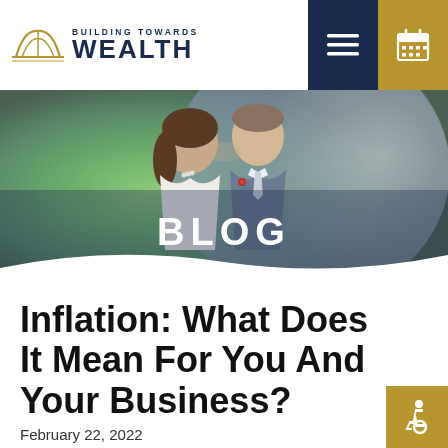Building Towards Wealth
[Figure (photo): Hero banner with a couple (bride and groom) touching foreheads, with green bokeh background, and large white 'BLOG' text overlay]
Inflation: What Does It Mean For You And Your Business?
February 22, 2022